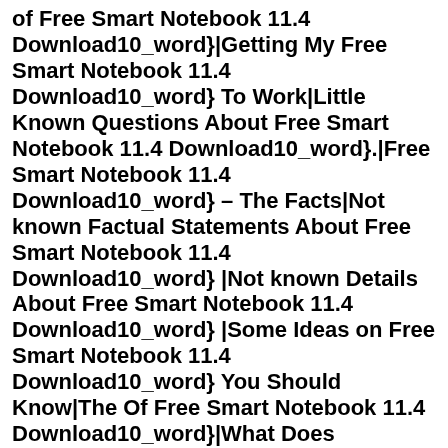of Free Smart Notebook 11.4 Download10_word}|Getting My Free Smart Notebook 11.4 Download10_word} To Work|Little Known Questions About Free Smart Notebook 11.4 Download10_word}.|Free Smart Notebook 11.4 Download10_word} – The Facts|Not known Factual Statements About Free Smart Notebook 11.4 Download10_word} |Not known Details About Free Smart Notebook 11.4 Download10_word} |Some Ideas on Free Smart Notebook 11.4 Download10_word} You Should Know|The Of Free Smart Notebook 11.4 Download10_word}|What Does